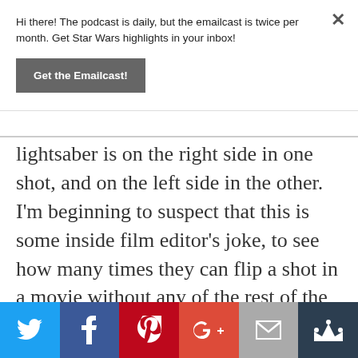Hi there! The podcast is daily, but the emailcast is twice per month. Get Star Wars highlights in your inbox!
Get the Emailcast!
lightsaber is on the right side in one shot, and on the left side in the other. I'm beginning to suspect that this is some inside film editor's joke, to see how many times they can flip a shot in a movie without any of the rest of the movie production team noticing.
[Figure (infographic): Social share bar with Twitter, Facebook, Pinterest, Google+, Email, and Kingdom icons]